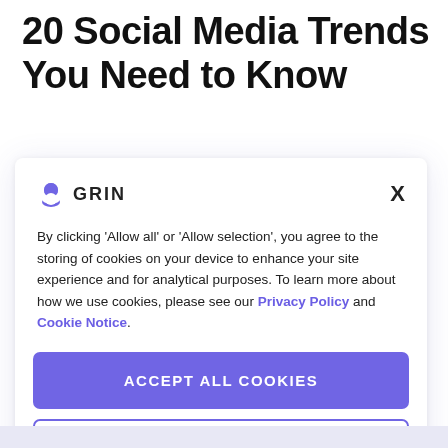20 Social Media Trends You Need to Know
[Figure (screenshot): GRIN cookie consent modal dialog with logo, close button, consent text with Privacy Policy and Cookie Notice links, Accept All Cookies button, and Cookies Settings button]
By clicking 'Allow all' or 'Allow selection', you agree to the storing of cookies on your device to enhance your site experience and for analytical purposes. To learn more about how we use cookies, please see our Privacy Policy and Cookie Notice.